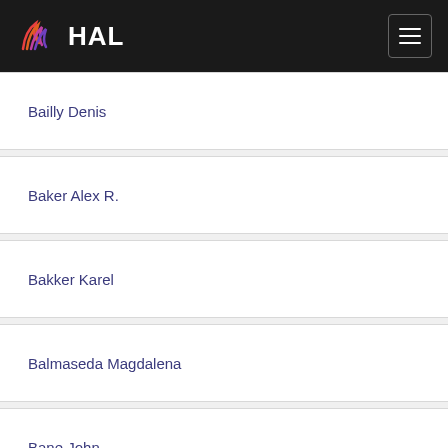HAL
Bailly Denis
Baker Alex R.
Bakker Karel
Balmaseda Magdalena
Bane John
Banzon Viva
Baptista G.
Baranowski Dariusz
Barbiero L.
Barbière Julian